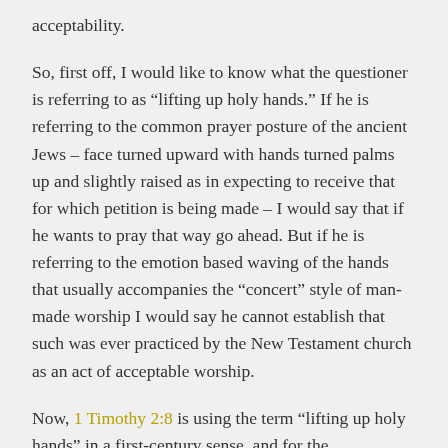acceptability.
So, first off, I would like to know what the questioner is referring to as “lifting up holy hands.” If he is referring to the common prayer posture of the ancient Jews – face turned upward with hands turned palms up and slightly raised as in expecting to receive that for which petition is being made – I would say that if he wants to pray that way go ahead. But if he is referring to the emotion based waving of the hands that usually accompanies the “concert” style of man-made worship I would say he cannot establish that such was ever practiced by the New Testament church as an act of acceptable worship.
Now, 1 Timothy 2:8 is using the term “lifting up holy hands” in a first-century sense, and for the...